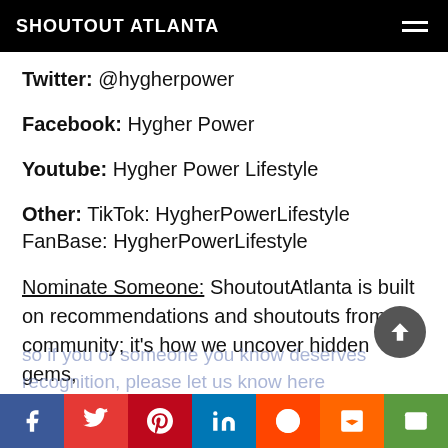SHOUTOUT ATLANTA
Twitter: @hygherpower
Facebook: Hygher Power
Youtube: Hygher Power Lifestyle
Other: TikTok: HygherPowerLifestyle FanBase: HygherPowerLifestyle
Nominate Someone: ShoutoutAtlanta is built on recommendations and shoutouts from the community; it's how we uncover hidden gems, so if you or someone you know deserves recognition, please let us know here